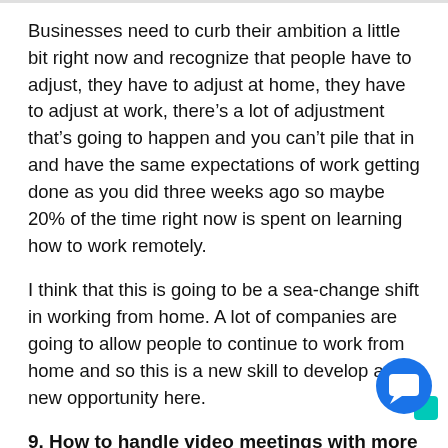Businesses need to curb their ambition a little bit right now and recognize that people have to adjust, they have to adjust at home, they have to adjust at work, there’s a lot of adjustment that’s going to happen and you can’t pile that in and have the same expectations of work getting done as you did three weeks ago so maybe 20% of the time right now is spent on learning how to work remotely.
I think that this is going to be a sea-change shift in working from home. A lot of companies are going to allow people to continue to work from home and so this is a new skill to develop and a new opportunity here.
9. How to handle video meetings with more than —
[Figure (other): Circular chat/messaging app button overlay icon in blue]